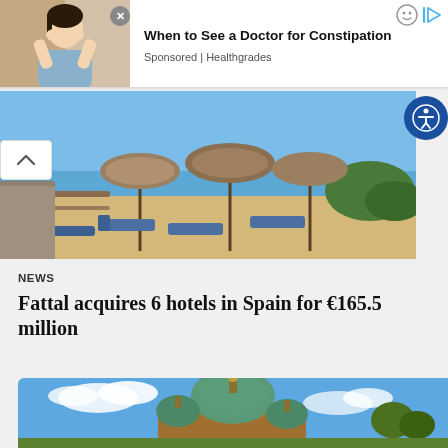[Figure (screenshot): Ad icons: smiley face and play/arrow icon in top right corner]
[Figure (photo): Advertisement showing a woman holding her head with hands, health-related ad]
When to See a Doctor for Constipation
Sponsored | Healthgrades
[Figure (photo): Beach resort photo showing lounge chairs, thatched umbrellas, sandy beach and blue sea]
[Figure (illustration): Blue circular accessibility icon button]
NEWS
Fattal acquires 6 hotels in Spain for €165.5 million
[Figure (photo): Photo of a large green-domed cathedral/church building against blue sky with clouds, likely Berlin Cathedral]